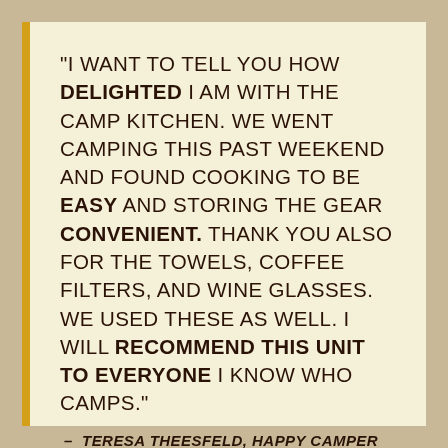"I WANT TO TELL YOU HOW DELIGHTED I AM WITH THE CAMP KITCHEN. WE WENT CAMPING THIS PAST WEEKEND AND FOUND COOKING TO BE EASY AND STORING THE GEAR CONVENIENT. THANK YOU ALSO FOR THE TOWELS, COFFEE FILTERS, AND WINE GLASSES. WE USED THESE AS WELL. I WILL RECOMMEND THIS UNIT TO EVERYONE I KNOW WHO CAMPS."
– TERESA THEESFELD, HAPPY CAMPER